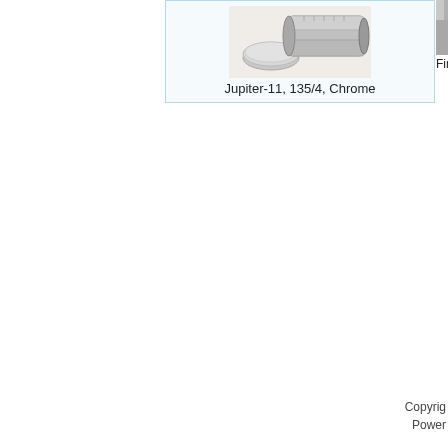[Figure (photo): Photo of a Jupiter-11 135/4 Chrome lens with cap removed, on white background]
Jupiter-11, 135/4, Chrome
[Figure (photo): Partial photo of another lens or finder unit, cropped on right edge]
Finder U
Copyright
Power